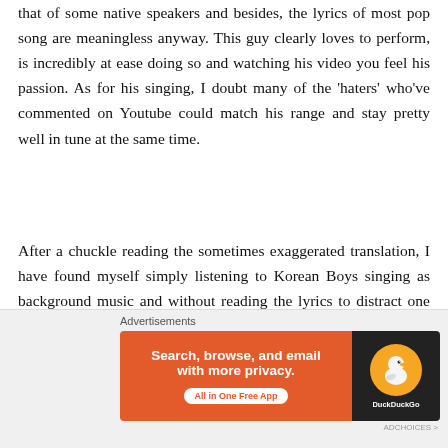that of some native speakers and besides, the lyrics of most pop song are meaningless anyway. This guy clearly loves to perform, is incredibly at ease doing so and watching his video you feel his passion. As for his singing, I doubt many of the 'haters' who've commented on Youtube could match his range and stay pretty well in tune at the same time.
After a chuckle reading the sometimes exaggerated translation, I have found myself simply listening to Korean Boys singing as background music and without reading the lyrics to distract one from what is basically an excellent musical performance. Dong Won-kim, I admire you – 'Fighting!"
[Figure (screenshot): DuckDuckGo advertisement banner: orange left section with text 'Search, browse, and email with more privacy. All in One Free App', dark right section with DuckDuckGo duck logo in orange circle. 'Advertisements' label above.]